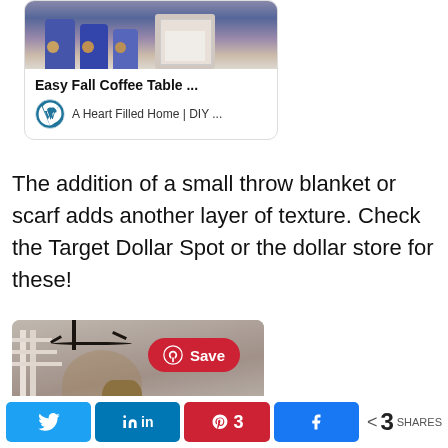[Figure (screenshot): Card preview with image of figurines on wooden crates. Title: Easy Fall Coffee Table ... Source: WordPress icon + A Heart Filled Home | DIY ...]
The addition of a small throw blanket or scarf adds another layer of texture. Check the Target Dollar Spot or the dollar store for these!
[Figure (photo): Photo of staircase with fall floral arrangement and chandelier with dark branches. A Pinterest Save button is overlaid.]
Tweet | Share | Pin 3 | Share | < 3 SHARES